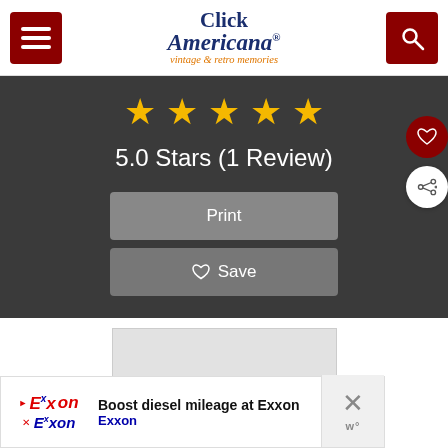Click Americana® vintage & retro memories
[Figure (infographic): 5 gold stars rating display with text '5.0 Stars (1 Review)', Print button, and Save button on dark background]
[Figure (screenshot): Gray advertisement placeholder box]
[Figure (infographic): Exxon advertisement banner: 'Boost diesel mileage at Exxon' with Exxon logo and blue directional arrow icon]
Boost diesel mileage at Exxon Exxon